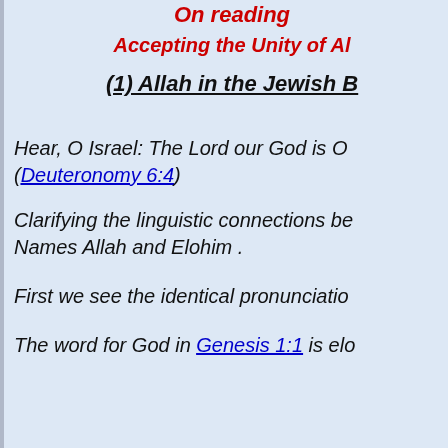On reading
Accepting the Unity of Al...
(1) Allah in the Jewish B...
Hear, O Israel: The Lord our God is O... (Deuteronomy 6:4)
Clarifying the linguistic connections be... Names Allah and Elohim .
First we see the identical pronunciatio...
The word for God in Genesis 1:1 is elo...